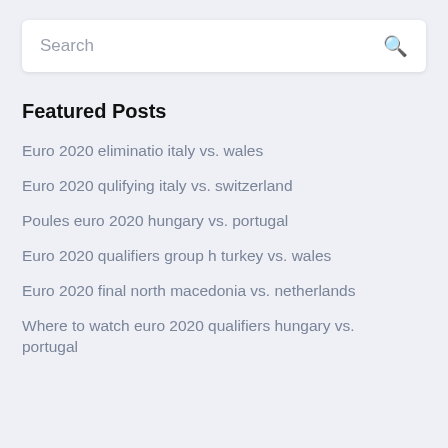[Figure (screenshot): Search bar with placeholder text 'Search' and a search icon on the right]
Featured Posts
Euro 2020 eliminatio italy vs. wales
Euro 2020 qulifying italy vs. switzerland
Poules euro 2020 hungary vs. portugal
Euro 2020 qualifiers group h turkey vs. wales
Euro 2020 final north macedonia vs. netherlands
Where to watch euro 2020 qualifiers hungary vs. portugal